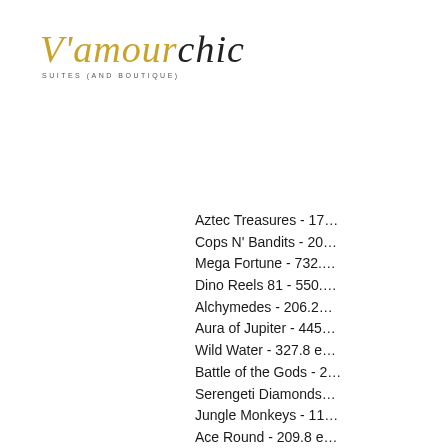[Figure (logo): V'amour Chic Suites (and Boutique) logo — 'V'amour' in gold script, 'chic' in dark script, subtitle 'SUITES (AND BOUTIQUE)' in small grey caps]
Aztec Treasures - 17…
Cops N' Bandits - 20…
Mega Fortune - 732.…
Dino Reels 81 - 550.…
Alchymedes - 206.2…
Aura of Jupiter - 445…
Wild Water - 327.8 e…
Battle of the Gods - 2…
Serengeti Diamonds…
Jungle Monkeys - 11…
Ace Round - 209.8 e…
Slotomoji - 497.5 bch…